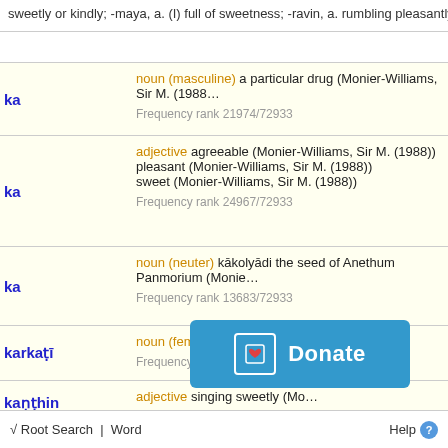sweetly or kindly; -maya, a. (I) full of sweetness; -ravin, a. rumbling pleasantly (clo...
| Headword | Definition |
| --- | --- |
| ka | noun (masculine) a particular drug (Monier-Williams, Sir M. (1988))
Frequency rank 21974/72933 |
| ka | adjective agreeable (Monier-Williams, Sir M. (1988))
pleasant (Monier-Williams, Sir M. (1988))
sweet (Monier-Williams, Sir M. (1988))
Frequency rank 24967/72933 |
| ka | noun (neuter) kākolyādi the seed of Anethum Panmorium (Monie...)
Frequency rank 13683/72933 |
| karkaṭī | noun (feminine) sweet citron
Frequency rank 61355/72933 |
| kaṇṭhin | adjective singing sweetly (Mo...) |
√ Root Search | Word    Help